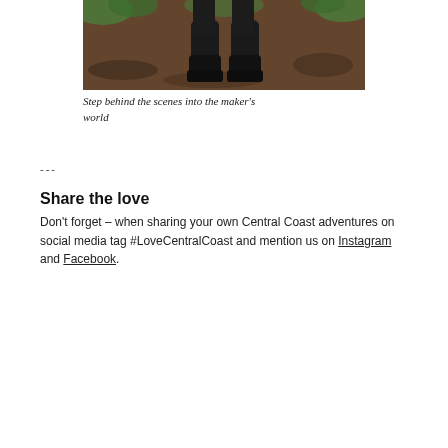[Figure (photo): Overhead view of a person's black boots and lower legs standing on dark mulch or forest ground, with green foliage visible at the top.]
Step behind the scenes into the maker's world
---
Share the love
Don't forget – when sharing your own Central Coast adventures on social media tag #LoveCentralCoast and mention us on Instagram and Facebook.